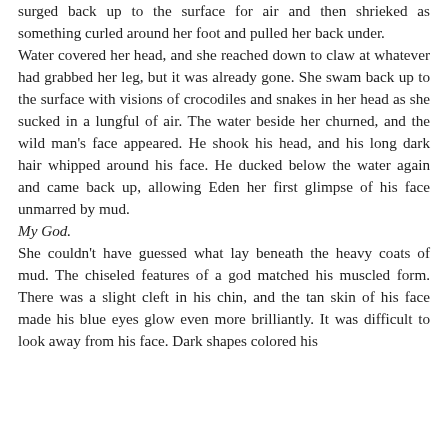surged back up to the surface for air and then shrieked as something curled around her foot and pulled her back under. Water covered her head, and she reached down to claw at whatever had grabbed her leg, but it was already gone. She swam back up to the surface with visions of crocodiles and snakes in her head as she sucked in a lungful of air. The water beside her churned, and the wild man's face appeared. He shook his head, and his long dark hair whipped around his face. He ducked below the water again and came back up, allowing Eden her first glimpse of his face unmarred by mud.
My God.
She couldn't have guessed what lay beneath the heavy coats of mud. The chiseled features of a god matched his muscled form. There was a slight cleft in his chin, and the tan skin of his face made his blue eyes glow even more brilliantly. It was difficult to look away from his face. Dark shapes colored his